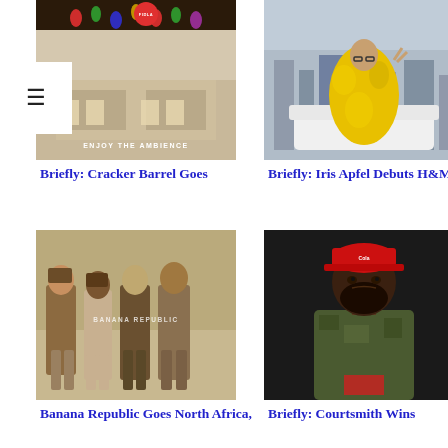[Figure (photo): Restaurant interior with colorful hanging lights and dining tables, text overlay 'ENJOY THE AMBIENCE', small red circular logo at top]
Briefly: Cracker Barrel Goes
[Figure (photo): Elderly woman in yellow fur coat seated by a window with city view, making a peace sign]
Briefly: Iris Apfel Debuts H&M
[Figure (photo): Group of four models in Banana Republic safari/earth-tone clothing seated together, 'BANANA REPUBLIC' text overlay]
Banana Republic Goes North Africa,
[Figure (photo): Man in red cap and camouflage jacket looking upward]
Briefly: Courtsmith Wins
[Figure (photo): Partial view of people near a food truck or van]
[Figure (photo): Partial view of a white/cream colored van or vehicle with text on side]